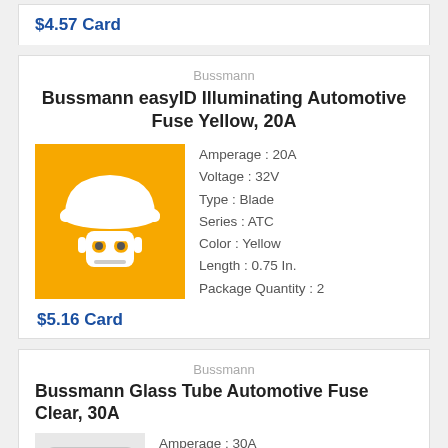$4.57 Card
Bussmann
Bussmann easyID Illuminating Automotive Fuse Yellow, 20A
[Figure (illustration): Yellow square background with white hard hat / safety helmet icon above a robot face with goggles]
Amperage : 20A
Voltage : 32V
Type : Blade
Series : ATC
Color : Yellow
Length : 0.75 In.
Package Quantity : 2
$5.16 Card
Bussmann
Bussmann Glass Tube Automotive Fuse Clear, 30A
Amperage : 30A